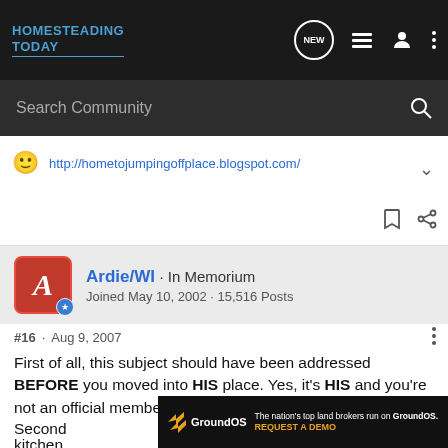HOMESTEADING TODAY
Search Community
http://hometojumpingoffplace.blogspot.com/
Ardie/WI · In Memorium
Joined May 10, 2002 · 15,516 Posts
#16 · Aug 9, 2007
First of all, this subject should have been addressed BEFORE you moved into HIS place. Yes, it's HIS and you're not an official member of his family.
[Figure (screenshot): GroundOS advertisement banner: 'The nation's top land brokers run on GroundOS. REQUEST A DEMO']
Second ... ns, kitchen ... and